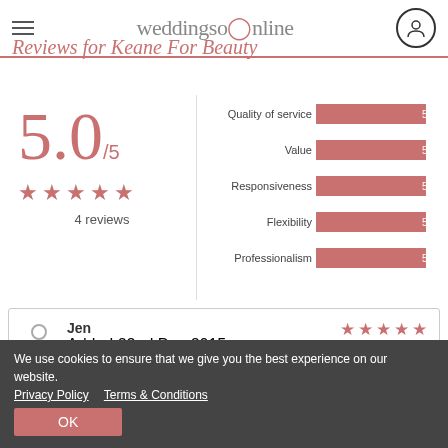weddingsonline
Reviews for Keane For Beauty
5.0/5 — 4 reviews
[Figure (bar-chart): Ratings breakdown]
Jen
Added 22nd Dec 2015
Wedding 29th Aug 2015
...was in the UK. Really pleased with the results on the day as were my bridesmaids.
We use cookies to ensure that we give you the best experience on our website.
Privacy Policy   Terms & Conditions
OK